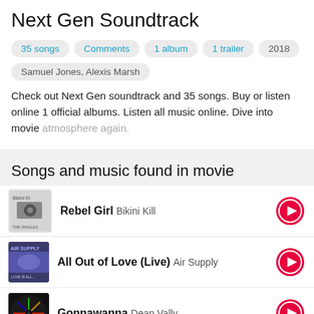Next Gen Soundtrack
35 songs  Comments  1 album  1 trailer  2018  Samuel Jones, Alexis Marsh
Check out Next Gen soundtrack and 35 songs. Buy or listen online 1 official albums. Listen all music online. Dive into movie atmosphere again.
Songs and music found in movie
Rebel Girl Bikini Kill
All Out of Love (Live) Air Supply
Gonnawanna Deap Vally
Ohlala Song Wang Nima and the Baozou Family